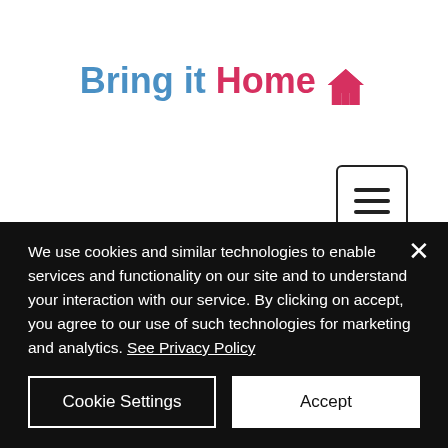[Figure (logo): Bring it Home logo with house icon. 'Bring it' in blue bold text, 'Home' in red/pink bold text with a red house icon.]
[Figure (other): Hamburger menu button — three horizontal lines in a rounded square border]
What Does God Require
We use cookies and similar technologies to enable services and functionality on our site and to understand your interaction with our service. By clicking on accept, you agree to our use of such technologies for marketing and analytics. See Privacy Policy
Cookie Settings
Accept